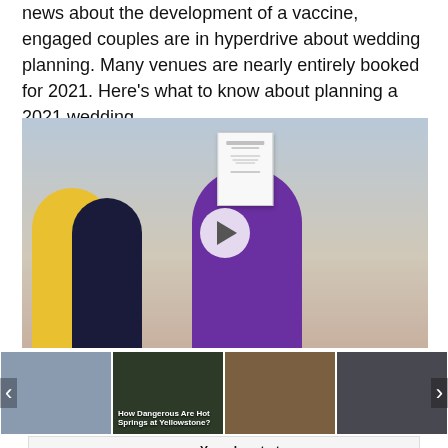news about the development of a vaccine, engaged couples are in hyperdrive about wedding planning. Many venues are nearly entirely booked for 2021. Here's what to know about planning a 2021 wedding.
[Figure (photo): Video player showing a person in a purple shirt holding up a document, with people clapping around them. A play button overlay is visible. Below are four video thumbnails including one titled 'How Dangerous Are Hot Springs at Yellowstone?'. Navigation arrows on left and right.]
[Figure (photo): Advertisement banner at bottom: 'Today IN GANT — Your day starts here!']